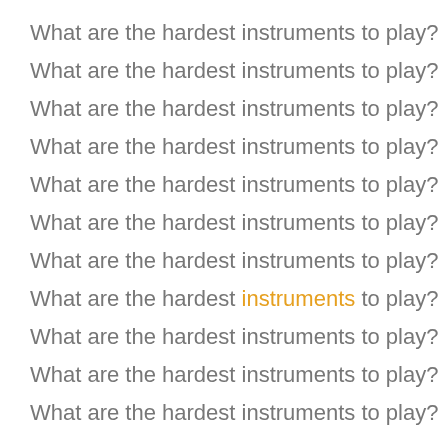What are the hardest instruments to play?
What are the hardest instruments to play?
What are the hardest instruments to play?
What are the hardest instruments to play?
What are the hardest instruments to play?
What are the hardest instruments to play?
What are the hardest instruments to play?
What are the hardest instruments to play? (with 'instruments' highlighted in orange)
What are the hardest instruments to play?
What are the hardest instruments to play?
What are the hardest instruments to play? (partial, cut off)